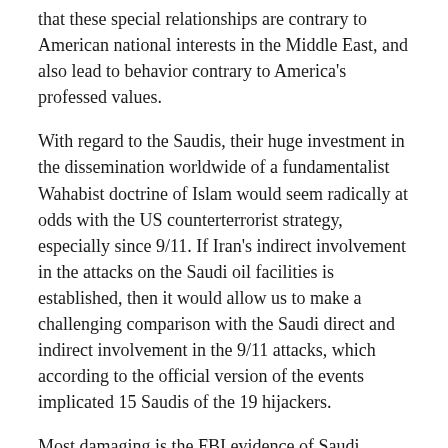that these special relationships are contrary to American national interests in the Middle East, and also lead to behavior contrary to America's professed values.
With regard to the Saudis, their huge investment in the dissemination worldwide of a fundamentalist Wahabist doctrine of Islam would seem radically at odds with the US counterterrorist strategy, especially since 9/11. If Iran's indirect involvement in the attacks on the Saudi oil facilities is established, then it would allow us to make a challenging comparison with the Saudi direct and indirect involvement in the 9/11 attacks, which according to the official version of the events implicated 15 Saudis of the 19 hijackers.
Most damaging is the FBI evidence of Saudi support for the attacks that killed almost 3,000 Americans that has been withheld all these years until families of victims finally obtained their release. The efforts of the presidency of George W. Bush with inappropriate help from the FBI director at the time who happened to be Robert Mueller, to